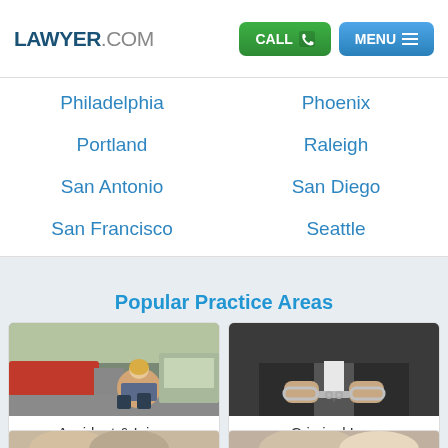LAWYER.COM — CALL | MENU
Philadelphia
Phoenix
Portland
Raleigh
San Antonio
San Diego
San Francisco
Seattle
Popular Practice Areas
[Figure (photo): Woman sitting on ground beside damaged car, distressed, accident scene]
Accident & Injury
[Figure (photo): Man in suit with hands in handcuffs, criminal law concept]
Criminal Law
[Figure (photo): Partial view of people, bottom card row]
[Figure (photo): Partial view of people, bottom card row right]